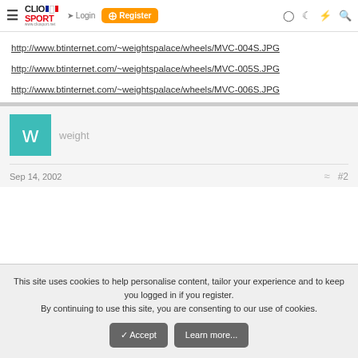ClioSport.net navigation bar with Login and Register
http://www.btinternet.com/~weightspalace/wheels/MVC-004S.JPG
http://www.btinternet.com/~weightspalace/wheels/MVC-005S.JPG
http://www.btinternet.com/~weightspalace/wheels/MVC-006S.JPG
[Figure (other): User avatar placeholder - teal square with letter W]
weight
Sep 14, 2002
#2
This site uses cookies to help personalise content, tailor your experience and to keep you logged in if you register.
By continuing to use this site, you are consenting to our use of cookies.